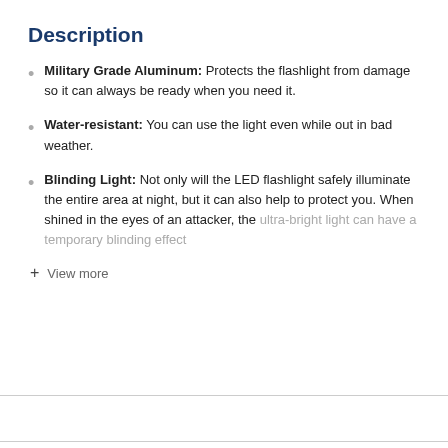Description
Military Grade Aluminum: Protects the flashlight from damage so it can always be ready when you need it.
Water-resistant: You can use the light even while out in bad weather.
Blinding Light: Not only will the LED flashlight safely illuminate the entire area at night, but it can also help to protect you. When shined in the eyes of an attacker, the ultra-bright light can have a temporary blinding effect
+ View more